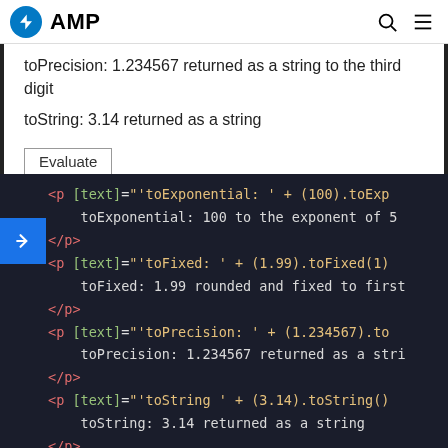AMP
toPrecision: 1.234567 returned as a string to the third digit
toString: 3.14 returned as a string
Evaluate
[Figure (screenshot): Code editor panel showing AMP HTML with p elements using [text] bindings for toExponential, toFixed, toPrecision, toString methods and a button element with on='tap:AMP.setState({})'>Evaluate]
<p [text]="'toExponential: ' + (100).toExp
    toExponential: 100 to the exponent of 5
</p>
<p [text]="'toFixed: ' + (1.99).toFixed(1)
    toFixed: 1.99 rounded and fixed to first
</p>
<p [text]="'toPrecision: ' + (1.234567).to
    toPrecision: 1.234567 returned as a stri
</p>
<p [text]="'toString ' + (3.14).toString()
    toString: 3.14 returned as a string
</p>
<button on="tap:AMP.setState({})>">Evaluate